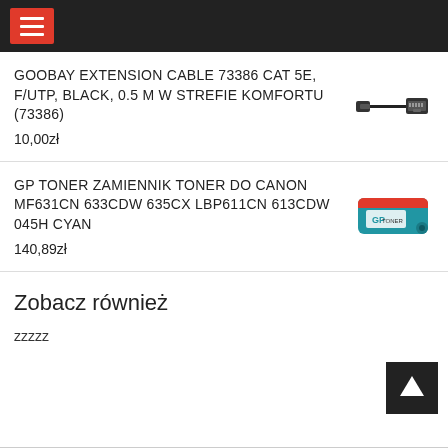GOOBAY EXTENSION CABLE 73386 CAT 5E, F/UTP, BLACK, 0.5 M W STREFIE KOMFORTU (73386)
10,00zł
GP TONER ZAMIENNIK TONER DO CANON MF631CN 633CDW 635CX LBP611CN 613CDW 045H CYAN
140,89zł
Zobacz również
zzzzz